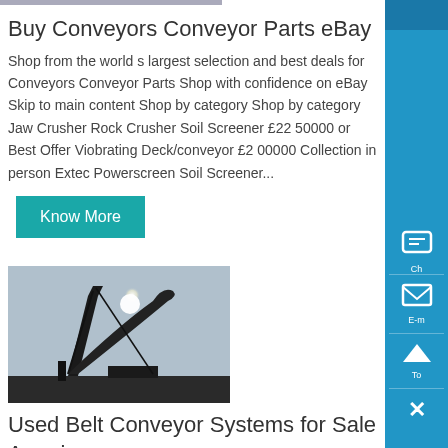[Figure (photo): Partial top of an image, cropped at top of page]
Buy Conveyors Conveyor Parts eBay
Shop from the world s largest selection and best deals for Conveyors Conveyor Parts Shop with confidence on eBay Skip to main content Shop by category Shop by category Jaw Crusher Rock Crusher Soil Screener £22 50000 or Best Offer Viobrating Deck/conveyor £2 00000 Collection in person Extec Powerscreen Soil Screener...
Know More
[Figure (photo): Photograph of industrial conveyor or mining equipment silhouetted against bright sky with sun visible]
Used Belt Conveyor Systems for Sale American